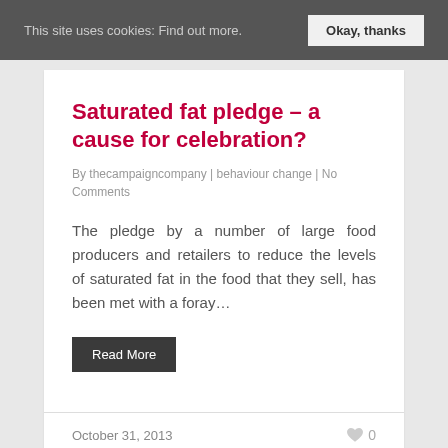This site uses cookies: Find out more. | Okay, thanks
Saturated fat pledge – a cause for celebration?
By thecampaigncompany | behaviour change | No Comments
The pledge by a number of large food producers and retailers to reduce the levels of saturated fat in the food that they sell, has been met with a foray…
Read More
October 31, 2013
0